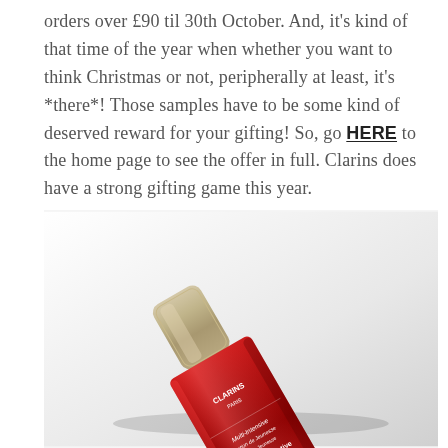orders over £90 til 30th October. And, it's kind of that time of the year when whether you want to think Christmas or not, peripherally at least, it's *there*! Those samples have to be some kind of deserved reward for your gifting! So, go HERE to the home page to see the offer in full. Clarins does have a strong gifting game this year.
[Figure (photo): A red Clarins bottle (Multi-Intensive Super Restorative lotion) with a gold/silver cap, lying diagonally on a white background. The bottle has white text on it with the Clarins Paris branding.]